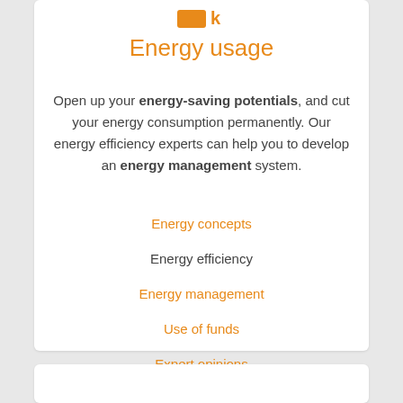[Figure (logo): Orange icon/logo at top of card]
Energy usage
Open up your energy-saving potentials, and cut your energy consumption permanently. Our energy efficiency experts can help you to develop an energy management system.
Energy concepts
Energy efficiency
Energy management
Use of funds
Expert opinions